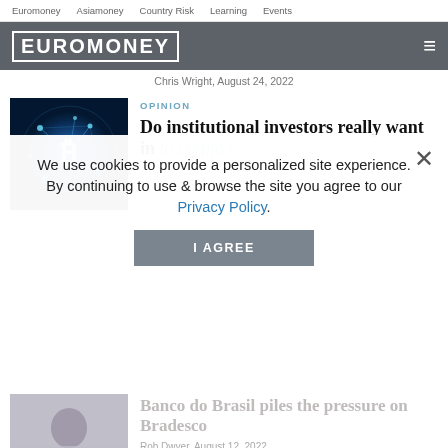Euromoney  Asiamoney  Country Risk  Learning  Events
[Figure (logo): Euromoney logo in white text on dark grey background with hamburger menu icon]
Chris Wright, August 24, 2022
[Figure (photo): Digital globe with Bitcoin symbol in blue glowing light]
OPINION
Do institutional investors really want in to crypto?
We use cookies to provide a personalized site experience.
By continuing to use & browse the site you agree to our Privacy Policy.
I AGREE
[Figure (photo): Photo of Rob Dwyer on Latin America article]
Banco do Brasil piles the pressure on Bradesco
Rob Dwyer, August 12, 2022